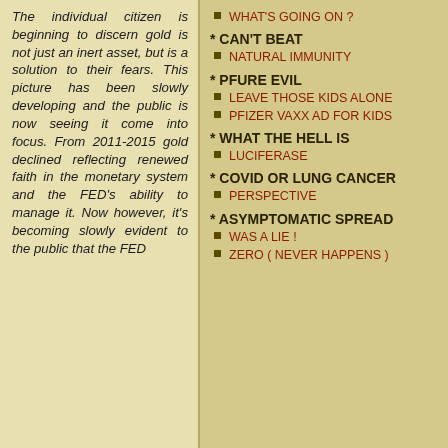The individual citizen is beginning to discern gold is not just an inert asset, but is a solution to their fears. This picture has been slowly developing and the public is now seeing it come into focus. From 2011-2015 gold declined reflecting renewed faith in the monetary system and the FED's ability to manage it. Now however, it's becoming slowly evident to the public that the FED
WHAT'S GOING ON ?
* CAN'T BEAT
NATURAL IMMUNITY
* PFURE EVIL
LEAVE THOSE KIDS ALONE
PFIZER VAXX AD FOR KIDS
* WHAT THE HELL IS
LUCIFERASE
* COVID OR LUNG CANCER
PERSPECTIVE
* ASYMPTOMATIC SPREAD
WAS A LIE !
ZERO ( NEVER HAPPENS )